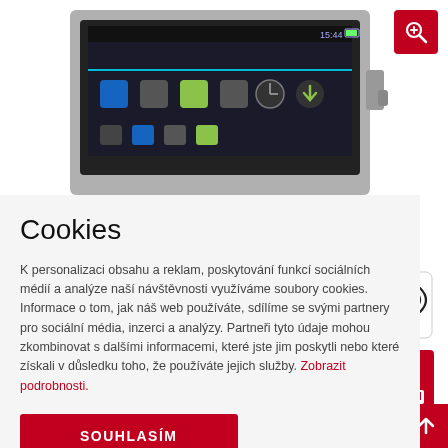[Figure (photo): Android tablet/touchscreen device mounted on wall, showing home screen with app icons]
[Figure (logo): Red zoom/magnify icon button in top right corner]
Cookies
K personalizaci obsahu a reklam, poskytování funkcí sociálních médií a analýze naší návštěvnosti využíváme soubory cookies. Informace o tom, jak náš web používáte, sdílíme se svými partnery pro sociální média, inzerci a analýzy. Partneři tyto údaje mohou zkombinovat s dalšími informacemi, které jste jim poskytli nebo které získali v důsledku toho, že používáte jejich služby. Zobrazit podrobnosti.
SOUHLASÍM
[Figure (logo): RFID wireless icon - card reader with wifi waves]
[Figure (logo): POE (Power over Ethernet) red icon]
[Figure (logo): Scroll to top red arrow button]
*